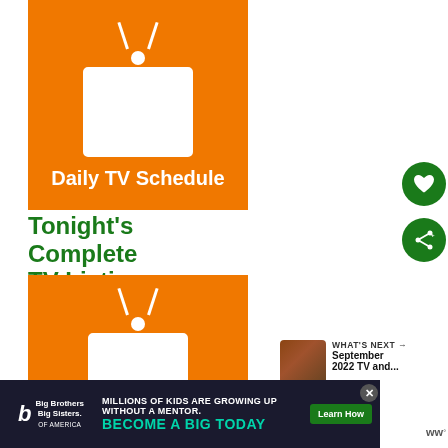[Figure (illustration): Orange square with white TV/badge icon and text 'Daily TV Schedule']
Tonight's Complete TV Listings:
[Figure (illustration): Orange square with white TV/badge icon, partial view (bottom image)]
[Figure (illustration): What's Next thumbnail with text 'September 2022 TV and...']
WHAT'S NEXT → September 2022 TV and...
[Figure (infographic): Ad banner: Big Brothers Big Sisters — MILLIONS OF KIDS ARE GROWING UP WITHOUT A MENTOR. BECOME A BIG TODAY. Learn How button.]